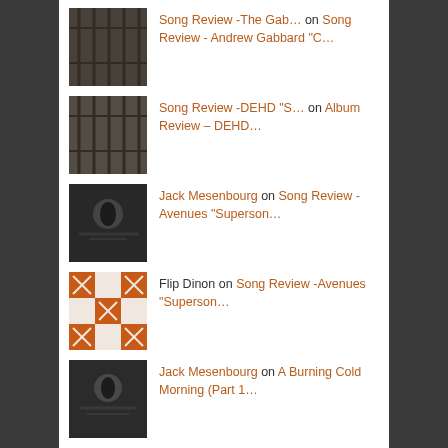Song Review -The Gab… on Song Review - Andrew Gabbard "C…
Song Review -DEHD "S… on Album Review – DEHD…
Jack Mesenbourg on Song Review -Avenues "Superson…
Flip Dinon on Song Review -Avenues "Superson…
Jack Mesenbourg on A Burning Cold Morning (Part 1…
COPYRIGHT NOTICE
© Jack Mesenbourg, 2011 – 2021 Unauthorized use and/or duplication of any material, content or published works without express and written permission from this website's author and/or owner is strictly prohibited. Excerpts and links may be used, provided that full and clear credit is given to Jack Mesenbourg, with appropriate and specific direction to the